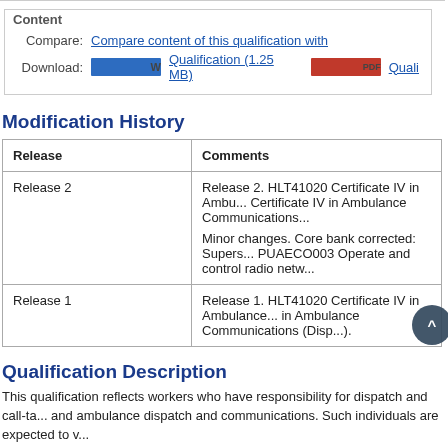Content
Compare: Compare content of this qualification with
Download: Qualification (1.25 MB) Quali...
Modification History
| Release | Comments |
| --- | --- |
| Release 2 | Release 2. HLT41020 Certificate IV in Ambu... Certificate IV in Ambulance Communications...

Minor changes. Core bank corrected: Supers... PUAECO003 Operate and control radio netw... |
| Release 1 | Release 1. HLT41020 Certificate IV in Ambulance... in Ambulance Communications (Disp...). |
Qualification Description
This qualification reflects workers who have responsibility for dispatch and call-ta... and ambulance dispatch and communications. Such individuals are expected to v...